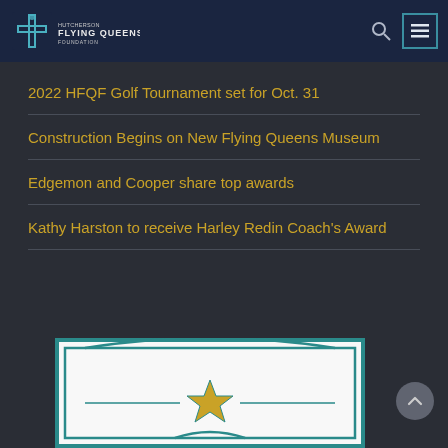[Figure (logo): Hutcherson Flying Queens Foundation logo with blue cross and text]
2022 HFQF Golf Tournament set for Oct. 31
Construction Begins on New Flying Queens Museum
Edgemon and Cooper share top awards
Kathy Harston to receive Harley Redin Coach's Award
[Figure (illustration): Partial view of a certificate with teal border and gold star in center]